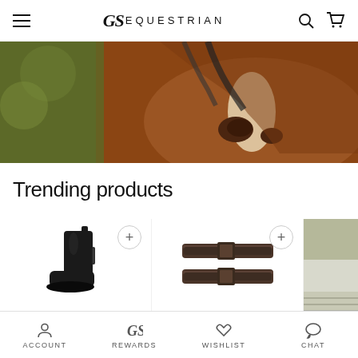GS EQUESTRIAN — navigation header with hamburger menu, logo, search and cart icons
[Figure (photo): Close-up photo of a horse's nose/muzzle showing brown fur and white blaze, with green foliage in background]
Trending products
[Figure (photo): Black jodhpur boot / riding boot product photo on white background]
[Figure (photo): Dark brown leather spur straps product photo on white background]
[Figure (photo): Partial product visible — sage green and white textiles/clothing]
ACCOUNT | REWARDS | WISHLIST | CHAT — bottom navigation bar